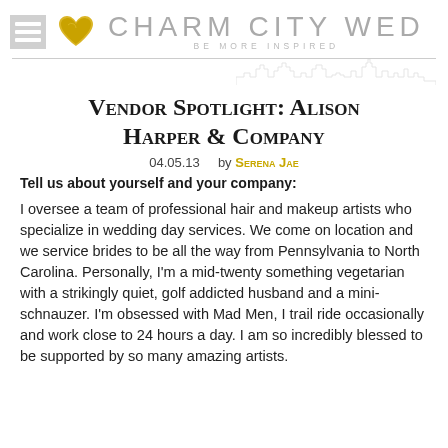CHARM CITY WED — BE MORE INSPIRED
Vendor Spotlight: Alison Harper & Company
04.05.13   by Serena Jae
Tell us about yourself and your company:
I oversee a team of professional hair and makeup artists who specialize in wedding day services. We come on location and we service brides to be all the way from Pennsylvania to North Carolina. Personally, I'm a mid-twenty something vegetarian with a strikingly quiet, golf addicted husband and a mini-schnauzer. I'm obsessed with Mad Men, I trail ride occasionally and work close to 24 hours a day. I am so incredibly blessed to be supported by so many amazing artists.